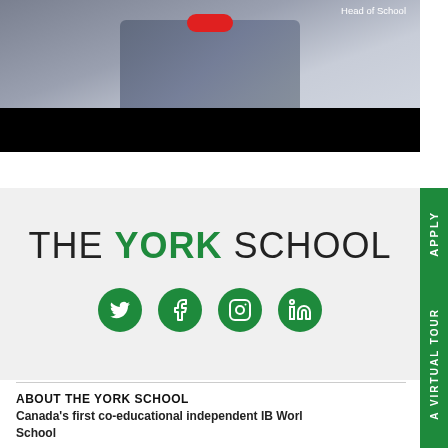[Figure (photo): Person in plaid blazer, Head of School label in top right, red play button overlay, black bar at bottom of image]
THE YORK SCHOOL
[Figure (infographic): Four green circular social media icons: Twitter, Facebook, Instagram, LinkedIn]
ABOUT THE YORK SCHOOL
Canada's first co-educational independent IB World School